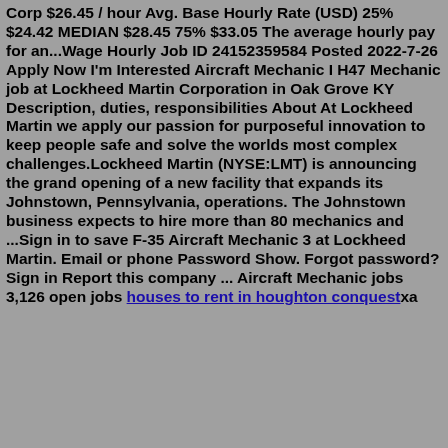Corp $26.45 / hour Avg. Base Hourly Rate (USD) 25% $24.42 MEDIAN $28.45 75% $33.05 The average hourly pay for an...Wage Hourly Job ID 24152359584 Posted 2022-7-26 Apply Now I'm Interested Aircraft Mechanic I H47 Mechanic job at Lockheed Martin Corporation in Oak Grove KY Description, duties, responsibilities About At Lockheed Martin we apply our passion for purposeful innovation to keep people safe and solve the worlds most complex challenges.Lockheed Martin (NYSE:LMT) is announcing the grand opening of a new facility that expands its Johnstown, Pennsylvania, operations. The Johnstown business expects to hire more than 80 mechanics and ...Sign in to save F-35 Aircraft Mechanic 3 at Lockheed Martin. Email or phone Password Show. Forgot password? Sign in Report this company ... Aircraft Mechanic jobs 3,126 open jobs houses to rent in houghton conquestxa